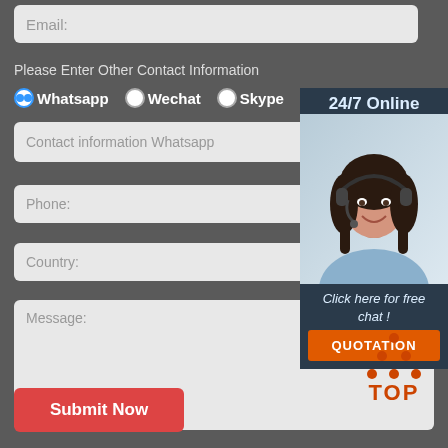Email:
Please Enter Other Contact Information
Whatsapp  Wechat  Skype  Viber
Contact information Whatsapp
Phone:
Country:
Message:
[Figure (photo): 24/7 Online customer service widget with a smiling woman wearing a headset, dark navy background, orange QUOTATION button, and 'Click here for free chat!' text]
Submit Now
[Figure (logo): TOP logo with orange triangle of dots above the text TOP in orange]